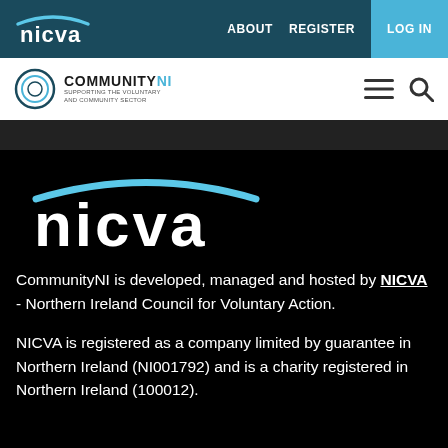[Figure (logo): NICVA logo - white text 'nicva' with light blue arc above, on dark teal background, in top navigation bar]
ABOUT   REGISTER   LOG IN
[Figure (logo): CommunityNI logo - circular icon with 'COMMUNITYNI' text, supporting voluntary and community sector]
[Figure (logo): Large NICVA logo - white bold 'nicva' text with cyan arc above, on black background]
CommunityNI is developed, managed and hosted by NICVA - Northern Ireland Council for Voluntary Action.
NICVA is registered as a company limited by guarantee in Northern Ireland (NI001792) and is a charity registered in Northern Ireland (100012).